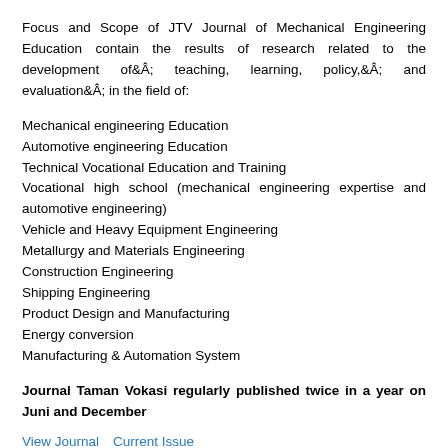Focus and Scope of JTV Journal of Mechanical Engineering Education contain the results of research related to the development ofÂ teaching, learning, policy,Â and evaluationÂ in the field of:
Mechanical engineering Education
Automotive engineering Education
Technical Vocational Education and Training
Vocational high school (mechanical engineering expertise and automotive engineering)
Vehicle and Heavy Equipment Engineering
Metallurgy and Materials Engineering
Construction Engineering
Shipping Engineering
Product Design and Manufacturing
Energy conversion
Manufacturing & Automation System
Journal Taman Vokasi regularly published twice in a year on Juni and December
View Journal   Current Issue